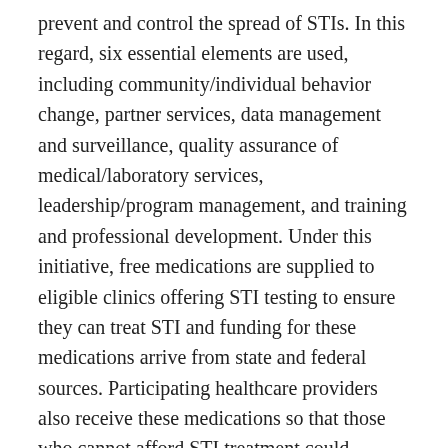prevent and control the spread of STIs. In this regard, six essential elements are used, including community/individual behavior change, partner services, data management and surveillance, quality assurance of medical/laboratory services, leadership/program management, and training and professional development. Under this initiative, free medications are supplied to eligible clinics offering STI testing to ensure they can treat STI and funding for these medications arrive from state and federal sources. Participating healthcare providers also receive these medications so that those who cannot afford STI treatment could receive them.
References
America's Health Rankings, 2020. Explore